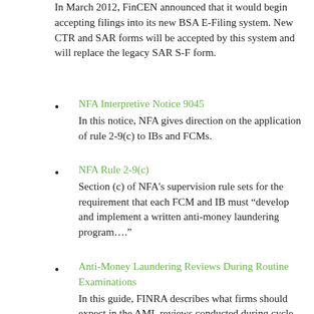In March 2012, FinCEN announced that it would begin accepting filings into its new BSA E-Filing system. New CTR and SAR forms will be accepted by this system and will replace the legacy SAR S-F form.
NFA Interpretive Notice 9045
In this notice, NFA gives direction on the application of rule 2-9(c) to IBs and FCMs.
NFA Rule 2-9(c)
Section (c) of NFA’s supervision rule sets for the requirement that each FCM and IB must “develop and implement a written anti-money laundering program….”
Anti-Money Laundering Reviews During Routine Examinations
In this guide, FINRA describes what firms should expect in the AML reviews conducted during cycle examinations.